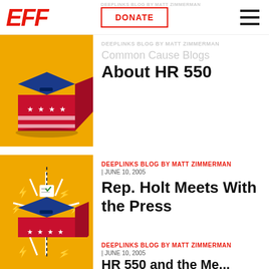EFF | DONATE | DEEPLINKS BLOG BY MATT ZIMMERMAN
Common Cause Blogs
About HR 550
[Figure (illustration): Illustration of an American-flag-themed ballot box on a golden/yellow background]
DEEPLINKS BLOG BY MATT ZIMMERMAN | JUNE 10, 2005
Rep. Holt Meets With the Press
[Figure (illustration): Illustration of an American-flag-themed ballot box with lightning bolts and a dashed ballot dropping in, on a golden/yellow background]
DEEPLINKS BLOG BY MATT ZIMMERMAN | JUNE 10, 2005
HR 550 and the Me...
[Figure (illustration): Same ballot box lightning illustration partially visible at bottom]